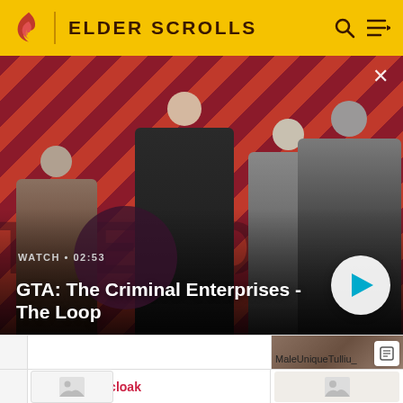ELDER SCROLLS
[Figure (screenshot): Video thumbnail for GTA: The Criminal Enterprises - The Loop. Shows four game characters on a red striped background. Includes a play button, watch time 02:53, and title text.]
WATCH • 02:53
GTA: The Criminal Enterprises - The Loop
|  |  | MaleUniqueTulliu_ |
Ulfric Stormcloak